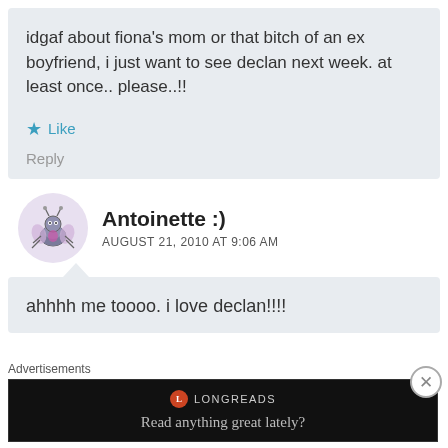idgaf about fiona's mom or that bitch of an ex boyfriend, i just want to see declan next week. at least once.. please..!!
★ Like
Reply
Antoinette :)
AUGUST 21, 2010 AT 9:06 AM
ahhhh me toooo. i love declan!!!!
Advertisements
[Figure (screenshot): Longreads advertisement banner: circular L logo, text LONGREADS, and tagline 'Read anything great lately?']